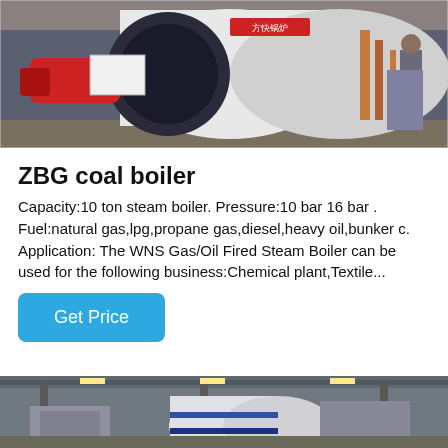[Figure (photo): Industrial boiler equipment in a factory setting. A large white cylindrical boiler with a red burner attachment on the left and a Chinese brand logo. A worker is visible near piping on the right side.]
ZBG coal boiler
Capacity:10 ton steam boiler. Pressure:10 bar 16 bar . Fuel:natural gas,lpg,propane gas,diesel,heavy oil,bunker c. Application: The WNS Gas/Oil Fired Steam Boiler can be used for the following business:Chemical plant,Textile...
Get Price
[Figure (photo): Industrial facility interior showing large white cylindrical equipment (boiler or pressure vessel) in a warehouse setting with overhead cranes and industrial lighting.]